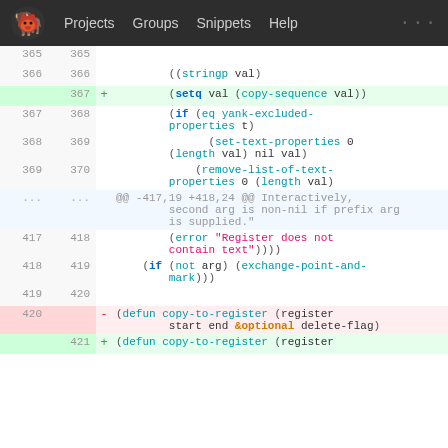[Figure (screenshot): GitLab navigation bar with GNU/GNU logo, Projects, Groups, Snippets, Help menu items]
Code diff view showing Emacs Lisp source changes. Lines 365-421 with added/removed lines highlighted.